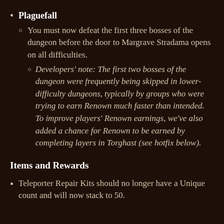Plaguefall
You must now defeat the first three bosses of the dungeon before the door to Margrave Stradama opens on all difficulties.
Developers' note: The first two bosses of the dungeon were frequently being skipped in lower-difficulty dungeons, typically by groups who were trying to earn Renown much faster than intended. To improve players' Renown earnings, we've also added a chance for Renown to be earned by completing layers in Torghast (see hotfix below).
Items and Rewards
Teleporter Repair Kits should no longer have a Unique count and will now stack to 50.